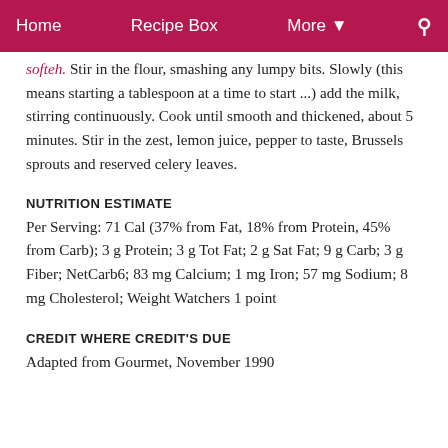Home   Recipe Box   More ▾   🔍
softeh. Stir in the flour, smashing any lumpy bits. Slowly (this means starting a tablespoon at a time to start ...) add the milk, stirring continuously. Cook until smooth and thickened, about 5 minutes. Stir in the zest, lemon juice, pepper to taste, Brussels sprouts and reserved celery leaves.
NUTRITION ESTIMATE
Per Serving: 71 Cal (37% from Fat, 18% from Protein, 45% from Carb); 3 g Protein; 3 g Tot Fat; 2 g Sat Fat; 9 g Carb; 3 g Fiber; NetCarb6; 83 mg Calcium; 1 mg Iron; 57 mg Sodium; 8 mg Cholesterol; Weight Watchers 1 point
CREDIT WHERE CREDIT'S DUE
Adapted from Gourmet, November 1990